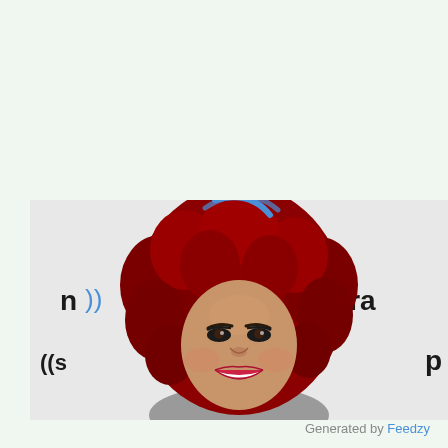[Figure (photo): A woman with voluminous red curly hair and red lipstick, smiling at the camera. She is standing in front of a step-and-repeat banner with SiriusXM and Pandora logos. A partial blue circular logo is visible at the top center of the image.]
Generated by Feedzy